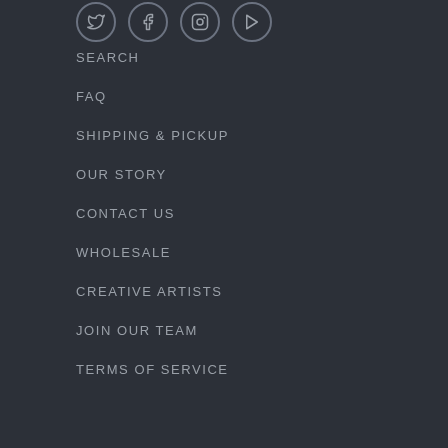[Figure (illustration): Social media icon circles (Twitter, Facebook, Instagram, and one more) partially visible at the top of the page]
SEARCH
FAQ
SHIPPING & PICKUP
OUR STORY
CONTACT US
WHOLESALE
CREATIVE ARTISTS
JOIN OUR TEAM
TERMS OF SERVICE